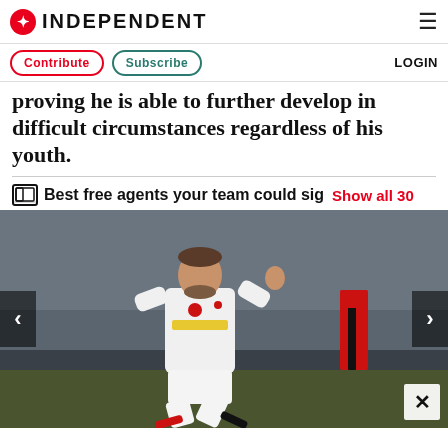INDEPENDENT
Contribute  Subscribe  LOGIN
proving he is able to further develop in difficult circumstances regardless of his youth.
Best free agents your team could sig  Show all 30
[Figure (photo): A Manchester United footballer in white kit with Chevrolet sponsor jumping/kicking during a match, with crowd in background and an opposing player in black and red stripes visible.]